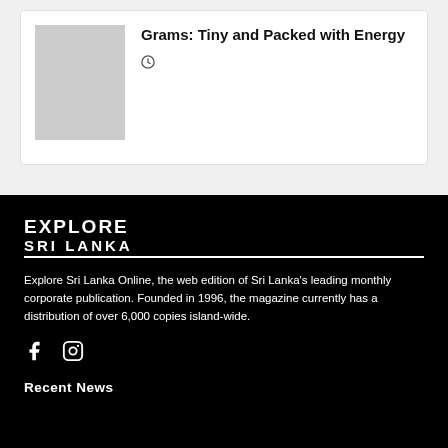Grams: Tiny and Packed with Energy
[Figure (illustration): Small thumbnail image placeholder in gray]
[Figure (logo): Explore Sri Lanka logo in white text on black background]
Explore Sri Lanka Online, the web edition of Sri Lanka's leading monthly corporate publication. Founded in 1996, the magazine currently has a distribution of over 6,000 copies island-wide.
[Figure (other): Social media icons: Facebook (f) and Instagram]
Recent News